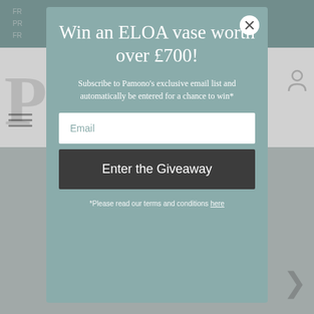[Figure (screenshot): Blurred background of a website (Pamono) showing partial header with logo letter P, navigation hamburger icon, user icon, and muted teal header bar with partially visible text lines]
Win an ELOA vase worth over £700!
Subscribe to Pamono's exclusive email list and automatically be entered for a chance to win*
Email
Enter the Giveaway
*Please read our terms and conditions here